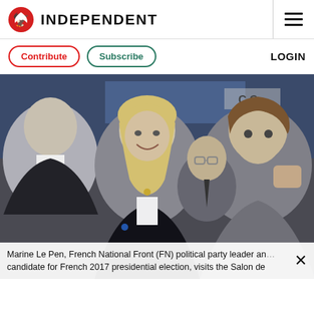INDEPENDENT
Contribute  Subscribe  LOGIN
[Figure (photo): Marine Le Pen, French National Front (FN) political party leader and candidate for French 2017 presidential election, visits the Salon de l'Agriculture farm fair in Paris. She is shown smiling in a black jacket, flanked by several people including a man with a red striped tie on the left and another man on the right.]
Marine Le Pen, French National Front (FN) political party leader and candidate for French 2017 presidential election, visits the Salon de